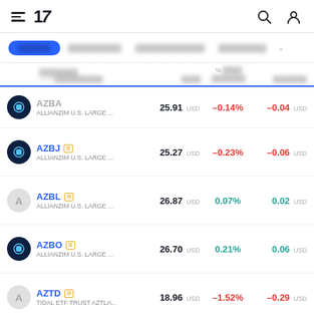TradingView app header with hamburger menu, logo '17', search icon, and user icon
Tab row: [active tab blurred] [blurred tabs] [dropdown]
| Name | Price | % Change | Change |
| --- | --- | --- | --- |
| AZBA / ALLIANZIM U.S. LARGE ... | 25.91 USD | -0.14% | -0.04 USD |
| AZBJ / ALLIANZIM U.S. LARGE ... | 25.27 USD | -0.23% | -0.06 USD |
| AZBL / ALLIANZIM U.S. LARGE ... | 26.87 USD | 0.07% | 0.02 USD |
| AZBO / ALLIANZIM U.S. LARGE ... | 26.70 USD | 0.21% | 0.06 USD |
| AZTD / TIDAL ETF TRUST AZTLA... | 18.96 USD | -1.52% | -0.29 USD |
| BAB / INVESCO TAXABLE MUNI... | 27.02 USD | -0.81% | -0.22 USD |